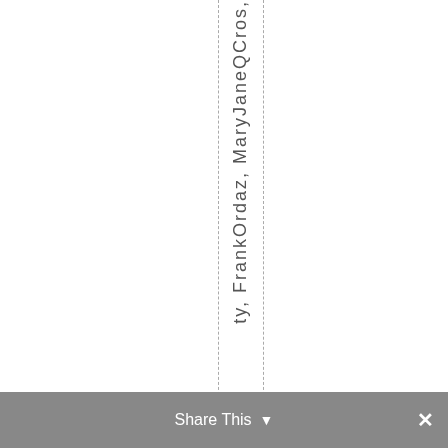ty, FrankOrdaz, MaryJaneQCros,
Share This ×